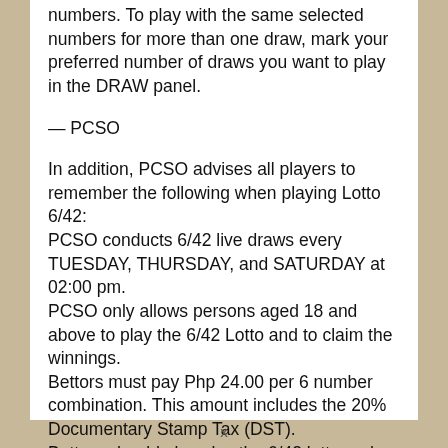numbers. To play with the same selected numbers for more than one draw, mark your preferred number of draws you want to play in the DRAW panel.
— PCSO
In addition, PCSO advises all players to remember the following when playing Lotto 6/42: PCSO conducts 6/42 live draws every TUESDAY, THURSDAY, and SATURDAY at 02:00 pm. PCSO only allows persons aged 18 and above to play the 6/42 Lotto and to claim the winnings. Bettors must pay Php 24.00 per 6 number combination. This amount includes the 20% Documentary Stamp Tax (DST).
Bettors should also play the 6/42 lotto and should be...